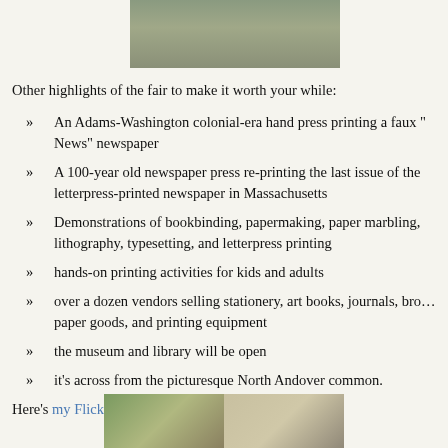[Figure (photo): Top portion of a photo showing an outdoor scene, partially cropped at the top of the page]
Other highlights of the fair to make it worth your while:
» An Adams-Washington colonial-era hand press printing a faux "News" newspaper
» A 100-year old newspaper press re-printing the last issue of the letterpress-printed newspaper in Massachusetts
» Demonstrations of bookbinding, papermaking, paper marbling, lithography, typesetting, and letterpress printing
» hands-on printing activities for kids and adults
» over a dozen vendors selling stationery, art books, journals, bro… paper goods, and printing equipment
» the museum and library will be open
» it's across from the picturesque North Andover common.
Here's my Flickr photoset from last year's fair.
[Figure (photo): Photo from last year's fair showing an outdoor scene with people under a tent]